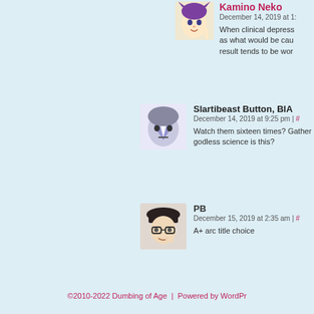[Figure (illustration): Anime-style avatar of Kamino Neko, purple hair with cat ears]
Kamino Neko
December 14, 2019 at 1:
When clinical depress as what would be cau result tends to be wor
[Figure (illustration): Anime-style avatar of Slartibeast Button BIA, character with blue face paint]
Slartibeast Button, BIA
December 14, 2019 at 9:25 pm | #
Watch them sixteen times? Gather godless science is this?
[Figure (illustration): Anime-style avatar of PB, character with glasses and dark hat]
PB
December 15, 2019 at 2:35 am | #
A+ arc title choice
©2010-2022 Dumbing of Age | Powered by WordPr